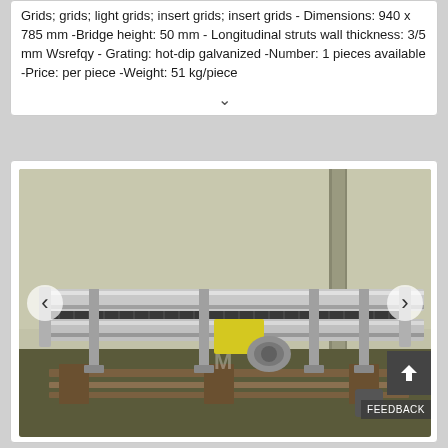Grids; grids; light grids; insert grids; insert grids - Dimensions: 940 x 785 mm -Bridge height: 50 mm -Longitudinal struts wall thickness: 3/5 mm Wsrefqy -Grating: hot-dip galvanized -Number: 1 pieces available -Price: per piece -Weight: 51 kg/piece
[Figure (photo): Industrial conveyor or linear guide rail system with a motor/drive unit, mounted on a wooden pallet inside a warehouse. The equipment appears to be a chain or belt drive linear actuator with metal support brackets.]